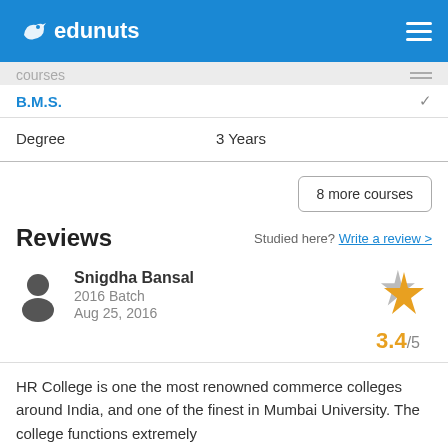[Figure (logo): Edunuts logo with bird icon on blue header bar]
courses
B.M.S.
| Degree | 3 Years |
| --- | --- |
8 more courses
Reviews
Studied here? Write a review >
Snigdha Bansal
2016 Batch
Aug 25, 2016
3.4/5
HR College is one the most renowned commerce colleges around India, and one of the finest in Mumbai University. The college functions extremely